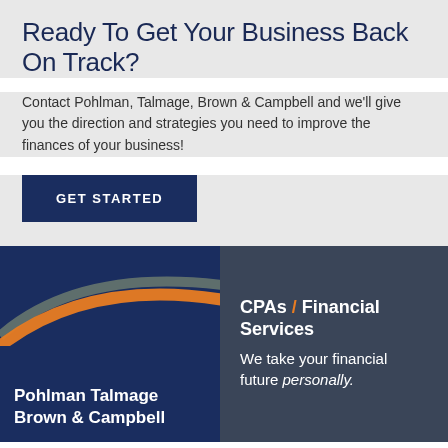Ready To Get Your Business Back On Track?
Contact Pohlman, Talmage, Brown & Campbell and we'll give you the direction and strategies you need to improve the finances of your business!
GET STARTED
[Figure (logo): Pohlman Talmage Brown & Campbell logo on dark navy background with orange and grey swoosh arcs]
CPAs / Financial Services
We take your financial future personally.